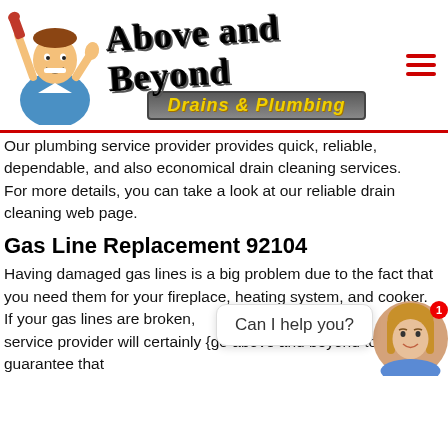[Figure (logo): Above and Beyond Drains & Plumbing logo with plumber mascot holding a wrench and thumbs up, stylized text logo, and hamburger menu icon]
Our plumbing service provider provides quick, reliable, dependable, and also economical drain cleaning services.
For more details, you can take a look at our reliable drain cleaning web page.
Gas Line Replacement 92104
Having damaged gas lines is a big problem due to the fact that you need them for your fireplace, heating system, and cooker.
If your gas lines are broken, own g service provider will certainly {go above and beyond to guarantee that
[Figure (illustration): Chat widget with 'Can I help you?' bubble and female avatar with notification badge showing 1]